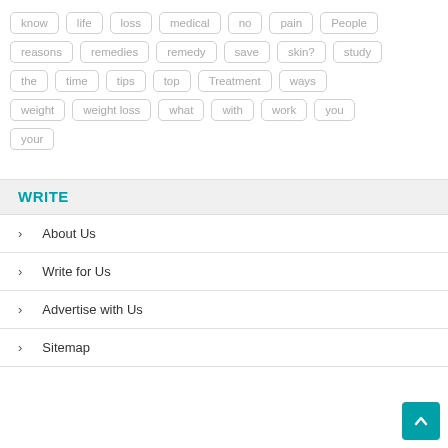[Figure (other): Tag cloud with keyword tags in rounded rectangle borders: know, life, loss, medical, no, pain, People, reasons, remedies, remedy, save, skin?, study, the, time, tips, top, Treatment, ways, weight, weight loss, what, with, work, you, your]
WRITE
> About Us
> Write for Us
> Advertise with Us
> Sitemap